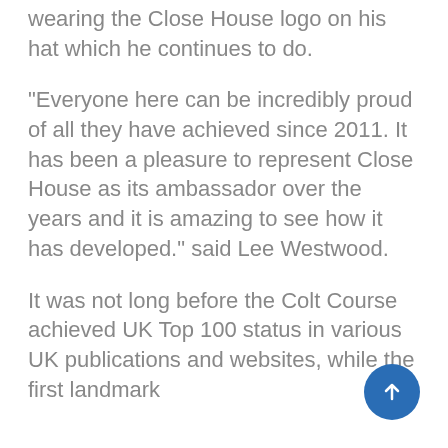wearing the Close House logo on his hat which he continues to do.
“Everyone here can be incredibly proud of all they have achieved since 2011. It has been a pleasure to represent Close House as its ambassador over the years and it is amazing to see how it has developed.” said Lee Westwood.
It was not long before the Colt Course achieved UK Top 100 status in various UK publications and websites, while the first landmark